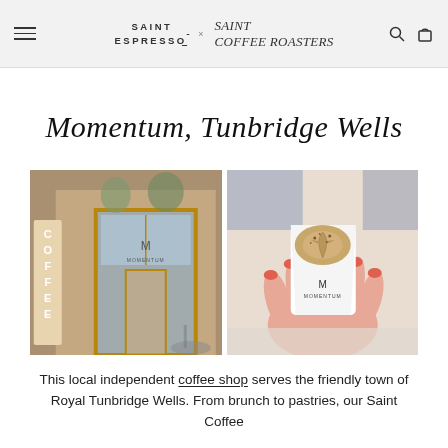SAINT ESPRESSO x Saint Coffee Roasters — navigation bar with hamburger menu, logo, search and bag icons
Momentum, Tunbridge Wells
[Figure (photo): Two side-by-side photos: left shows the exterior of Momentum coffee shop with a vertical 'COFFEE' sign and M logo on the door; right shows a person holding a white Momentum-branded cup with a latte art cappuccino.]
This local independent coffee shop serves the friendly town of Royal Tunbridge Wells. From brunch to pastries, our Saint Coffee